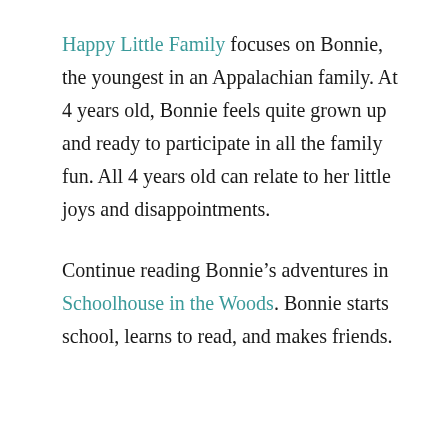Happy Little Family focuses on Bonnie, the youngest in an Appalachian family. At 4 years old, Bonnie feels quite grown up and ready to participate in all the family fun. All 4 years old can relate to her little joys and disappointments.
Continue reading Bonnie's adventures in Schoolhouse in the Woods. Bonnie starts school, learns to read, and makes friends.